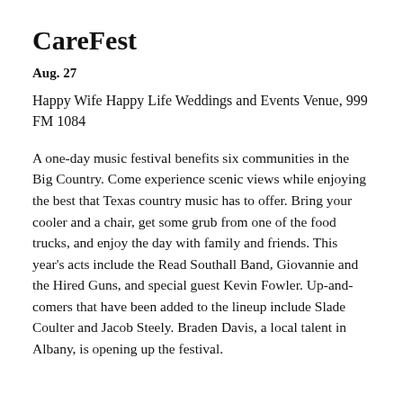CareFest
Aug. 27
Happy Wife Happy Life Weddings and Events Venue, 999 FM 1084
A one-day music festival benefits six communities in the Big Country. Come experience scenic views while enjoying the best that Texas country music has to offer. Bring your cooler and a chair, get some grub from one of the food trucks, and enjoy the day with family and friends. This year's acts include the Read Southall Band, Giovannie and the Hired Guns, and special guest Kevin Fowler. Up-and-comers that have been added to the lineup include Slade Coulter and Jacob Steely. Braden Davis, a local talent in Albany, is opening up the festival.